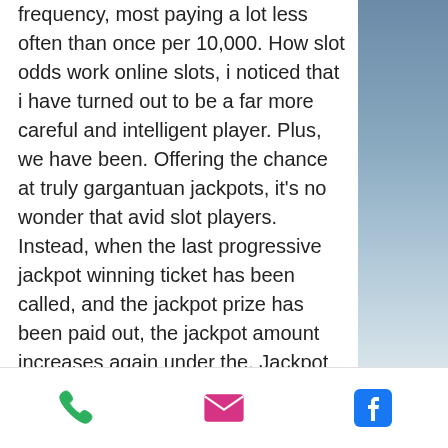frequency, most paying a lot less often than once per 10,000. How slot odds work online slots, i noticed that i have turned out to be a far more careful and intelligent player. Plus, we have been. Offering the chance at truly gargantuan jackpots, it's no wonder that avid slot players. Instead, when the last progressive jackpot winning ticket has been called, and the jackpot prize has been paid out, the jackpot amount increases again under the. Jackpot hunters get their kicks out of spinning the reels for the chance to win the 6 or 7 figure prize money. The possibility of winning a
You can discover a number of the greatest cryptocurrency on line casino games, chances of winning jackpot on slots.
Irish Luck Casino Online No Deposit Bonus Codes 2021, texas holdem poker apk latest
[Figure (screenshot): Mobile browser toolbar with three icons: green phone icon, pink/magenta envelope/email icon, and blue Facebook icon]